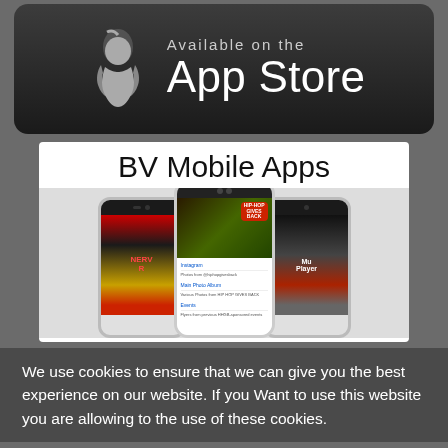[Figure (logo): Available on the App Store badge — dark rounded rectangle with Apple logo and white text reading 'Available on the App Store']
[Figure (screenshot): BV Mobile Apps promotional image showing three smartphones displaying the app interface, with text 'BV Mobile Apps' at top]
We use cookies to ensure that we can give you the best experience on our website. If you Want to use this website you are allowing to the use of these cookies.